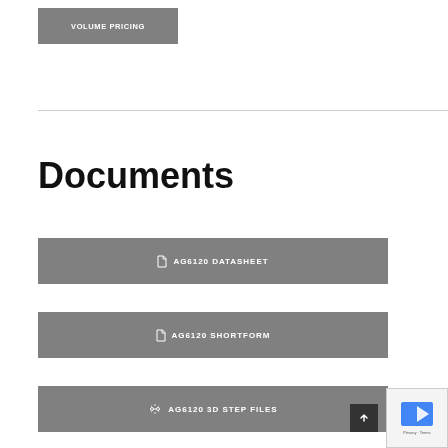VOLUME PRICING
Documents
AG6120 DATASHEET
AG6120 SHORTFORM
AG6120 3D STEP FILES